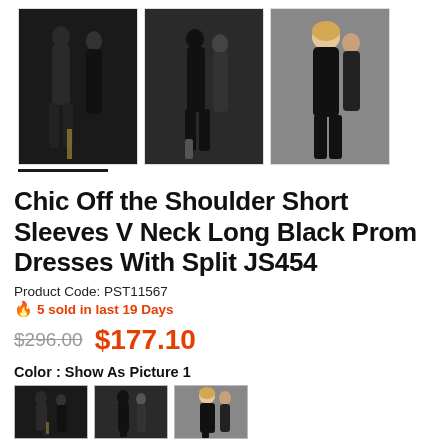[Figure (photo): Three product thumbnail photos of a black prom dress worn by a couple, shown from different angles.]
Chic Off the Shoulder Short Sleeves V Neck Long Black Prom Dresses With Split JS454
Product Code: PST11567
🔥 5 sold in last 19 Days
$296.00  $177.10
Color : Show As Picture 1
[Figure (photo): Three small color variant thumbnail photos of the black prom dress.]